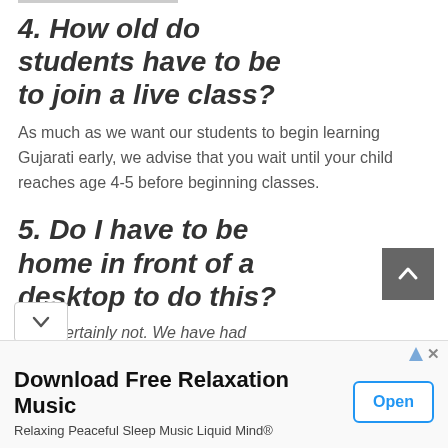4. How old do students have to be to join a live class?
As much as we want our students to begin learning Gujarati early, we advise that you wait until your child reaches age 4-5 before beginning classes.
5. Do I have to be home in front of a desktop to do this?
Most certainly not. We have had
Download Free Relaxation Music
Relaxing Peaceful Sleep Music Liquid Mind®